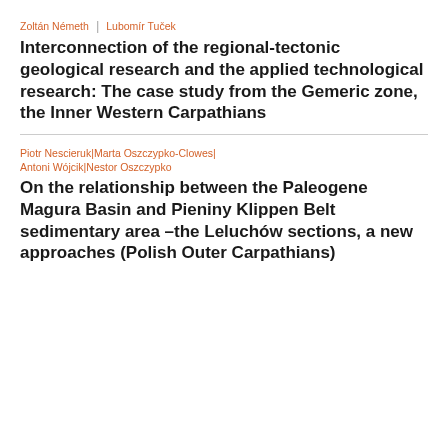Zoltán Németh | Lubomír Tuček
Interconnection of the regional-tectonic geological research and the applied technological research: The case study from the Gemeric zone, the Inner Western Carpathians
Piotr Nescieruk | Marta Oszczypko-Clowes | Antoni Wójcik | Nestor Oszczypko
On the relationship between the Paleogene Magura Basin and Pieniny Klippen Belt sedimentary area –the Leluchów sections, a new approaches (Polish Outer Carpathians)